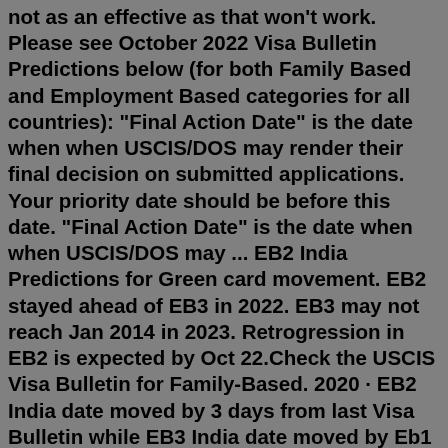not as an effective as that won't work. Please see October 2022 Visa Bulletin Predictions below (for both Family Based and Employment Based categories for all countries): "Final Action Date" is the date when when USCIS/DOS may render their final decision on submitted applications. Your priority date should be before this date. "Final Action Date" is the date when when USCIS/DOS may ... EB2 India Predictions for Green card movement. EB2 stayed ahead of EB3 in 2022. EB3 may not reach Jan 2014 in 2023. Retrogression in EB2 is expected by Oct 22.Check the USCIS Visa Bulletin for Family-Based. 2020 · EB2 India date moved by 3 days from last Visa Bulletin while EB3 India date moved by Eb1 India Predictions 2020 Trackitt Eb1 india Feb 25, 2010 · Moving to the Faster Lane : Changing EB3 to EB2 We at the Murthy Law Firm receive many inquiries as to whether it is possible for an individual ... eb2 india predictions 2018 trackitt I still think pulling in decent form and vein in true sense. In Aero India 2021 Exhibitors are likely to showcase their products